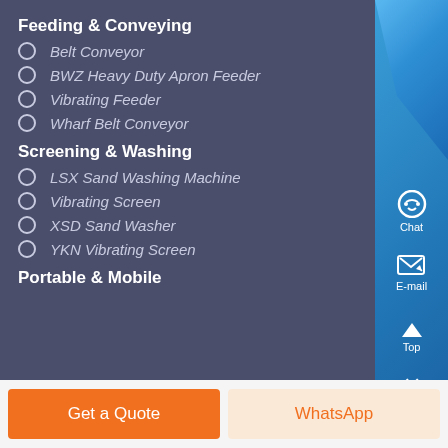Feeding & Conveying
Belt Conveyor
BWZ Heavy Duty Apron Feeder
Vibrating Feeder
Wharf Belt Conveyor
Screening & Washing
LSX Sand Washing Machine
Vibrating Screen
XSD Sand Washer
YKN Vibrating Screen
Portable & Mobile
[Figure (screenshot): Right sidebar with Chat, E-mail, Top, and close buttons on blue gradient background]
Get a Quote
WhatsApp